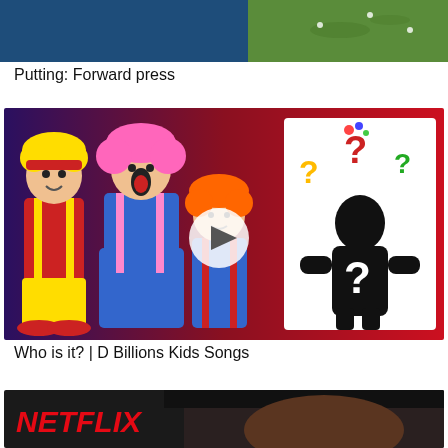[Figure (photo): Top portion of a video thumbnail split: left side shows blue background, right side shows green golf course]
Putting: Forward press
[Figure (photo): Kids song video thumbnail showing colorful clown characters on red/blue background with mystery silhouette figure on right holding question marks, and a play button in center]
Who is it? | D Billions Kids Songs
[Figure (photo): Partial Netflix video thumbnail showing Netflix logo in red and a dark background with a person's face partially visible]